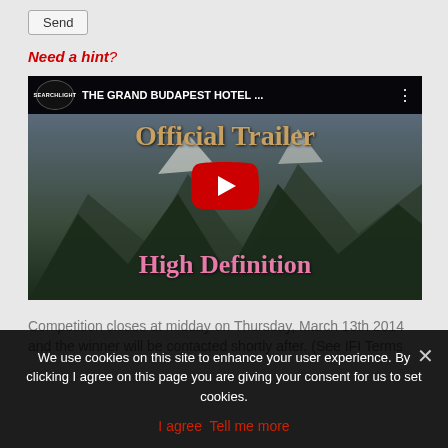Send
Need a hint?
[Figure (screenshot): YouTube video thumbnail for 'THE GRAND BUDAPEST HOTEL ... Official Trailer High Definition' with a red play button in the center, showing mountains in background with gold and pink text overlays. Searchlight Pictures logo visible in top bar.]
Competition closes at midday on Thursday, March 13th 2014 and the winner will be contacted shortly after. (See IFI Terms
We use cookies on this site to enhance your user experience. By clicking I agree on this page you are giving your consent for us to set cookies.
I agree   Tell me more